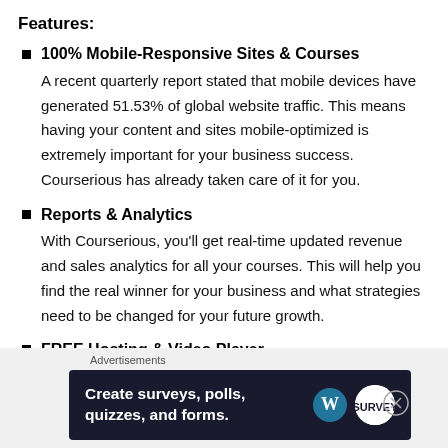Features:
100% Mobile-Responsive Sites & Courses
A recent quarterly report stated that mobile devices have generated 51.53% of global website traffic. This means having your content and sites mobile-optimized is extremely important for your business success. Courserious has already taken care of it for you.
Reports & Analytics
With Courserious, you'll get real-time updated revenue and sales analytics for all your courses. This will help you find the real winner for your business and what strategies need to be changed for your future growth.
FREE Hosting & Video Player
[Figure (screenshot): Advertisement banner: 'Create surveys, polls, quizzes, and forms.' with WordPress and SurveyFunnel icons on dark navy background]